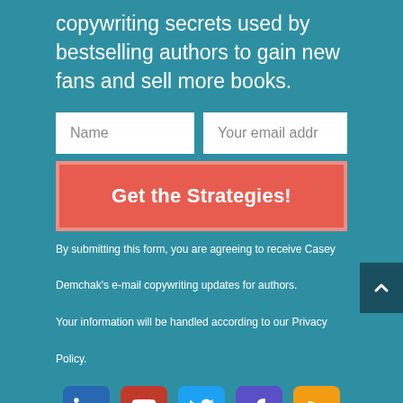copywriting secrets used by bestselling authors to gain new fans and sell more books.
Name | Your email address
Get the Strategies!
By submitting this form, you are agreeing to receive Casey Demchak's e-mail copywriting updates for authors. Your information will be handled according to our Privacy Policy.
[Figure (illustration): Social media icons: LinkedIn, YouTube, Twitter, Facebook, RSS]